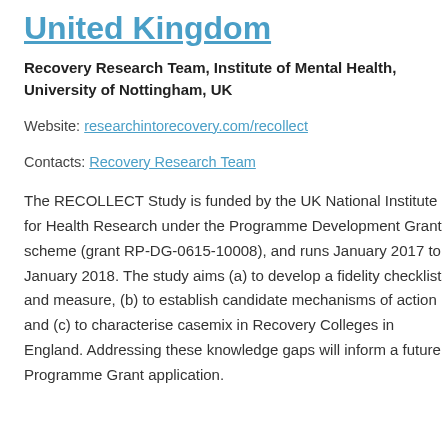United Kingdom
Recovery Research Team, Institute of Mental Health, University of Nottingham, UK
Website: researchintorecovery.com/recollect
Contacts: Recovery Research Team
The RECOLLECT Study is funded by the UK National Institute for Health Research under the Programme Development Grant scheme (grant RP-DG-0615-10008), and runs January 2017 to January 2018. The study aims (a) to develop a fidelity checklist and measure, (b) to establish candidate mechanisms of action and (c) to characterise casemix in Recovery Colleges in England. Addressing these knowledge gaps will inform a future Programme Grant application.